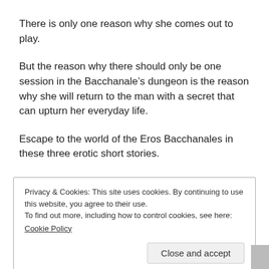There is only one reason why she comes out to play.
But the reason why there should only be one session in the Bacchanale’s dungeon is the reason why she will return to the man with a secret that can upturn her everyday life.
Escape to the world of the Eros Bacchanales in these three erotic short stories.
Buy now with 1-Click, to get your copy
Privacy & Cookies: This site uses cookies. By continuing to use this website, you agree to their use.
To find out more, including how to control cookies, see here:
Cookie Policy
Close and accept